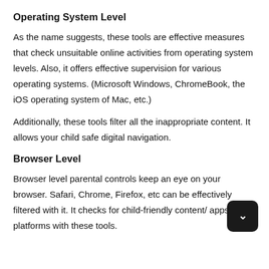Operating System Level
As the name suggests, these tools are effective measures that check unsuitable online activities from operating system levels. Also, it offers effective supervision for various operating systems. (Microsoft Windows, ChromeBook, the iOS operating system of Mac, etc.)
Additionally, these tools filter all the inappropriate content. It allows your child safe digital navigation.
Browser Level
Browser level parental controls keep an eye on your browser. Safari, Chrome, Firefox, etc can be effectively filtered with it. It checks for child-friendly content/ apps and platforms with these tools.